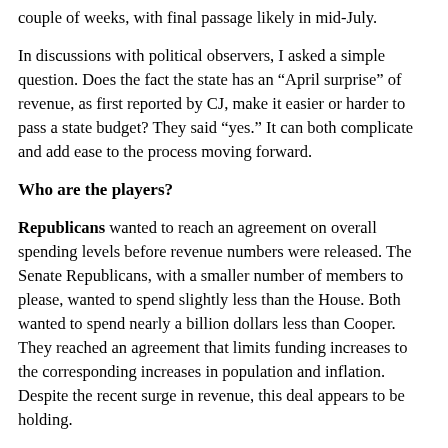couple of weeks, with final passage likely in mid-July.
In discussions with political observers, I asked a simple question. Does the fact the state has an “April surprise” of revenue, as first reported by CJ, make it easier or harder to pass a state budget? They said “yes.” It can both complicate and add ease to the process moving forward.
Who are the players?
Republicans wanted to reach an agreement on overall spending levels before revenue numbers were released. The Senate Republicans, with a smaller number of members to please, wanted to spend slightly less than the House. Both wanted to spend nearly a billion dollars less than Cooper. They reached an agreement that limits funding increases to the corresponding increases in population and inflation. Despite the recent surge in revenue, this deal appears to be holding.
So, does this mean all the additional revenue will be saved? Not necessarily. Republicans have shown willingness to increase